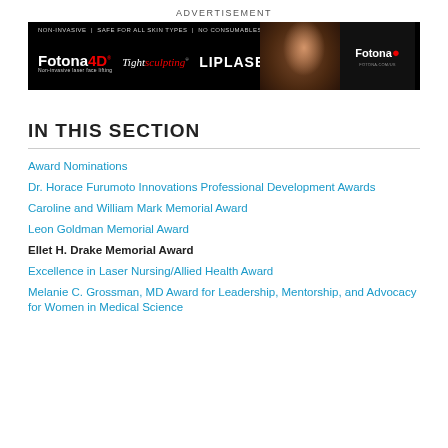ADVERTISEMENT
[Figure (photo): Fotona advertisement banner showing Fotona4D, TightSculpting, LIPLASE, and Fotona logos on a black background with a model photo]
IN THIS SECTION
Award Nominations
Dr. Horace Furumoto Innovations Professional Development Awards
Caroline and William Mark Memorial Award
Leon Goldman Memorial Award
Ellet H. Drake Memorial Award
Excellence in Laser Nursing/Allied Health Award
Melanie C. Grossman, MD Award for Leadership, Mentorship, and Advocacy for Women in Medical Science